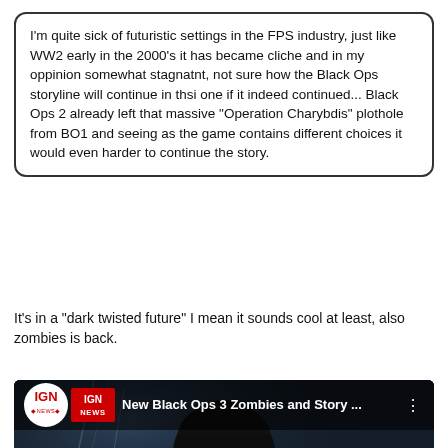I'm quite sick of futuristic settings in the FPS industry, just like WW2 early in the 2000's it has became cliche and in my oppinion somewhat stagnatnt, not sure how the Black Ops storyline will continue in thsi one if it indeed continued... Black Ops 2 already left that massive "Operation Charybdis" plothole from BO1 and seeing as the game contains different choices it would even harder to continue the story.
It's in a "dark twisted future" I mean it sounds cool at least, also zombies is back.
[Figure (screenshot): YouTube video thumbnail for IGN News: 'New Black Ops 3 Zombies and Story ...' showing a dark soldier silhouette holding a weapon, with a red YouTube play button in the center.]